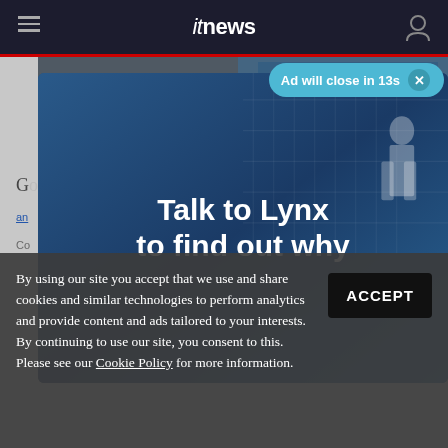itnews
[Figure (screenshot): ITNews website screenshot showing navigation bar with hamburger menu, itnews logo, and user icon on dark background with red accent line below]
[Figure (photo): Partially visible article image showing blurred indoor scene, likely an airport or office space]
Ad will close in 13s
[Figure (illustration): Advertisement overlay with blue gradient background and white bold text reading 'Talk to Lynx to find out why']
By using our site you accept that we use and share cookies and similar technologies to perform analytics and provide content and ads tailored to your interests. By continuing to use our site, you consent to this. Please see our Cookie Policy for more information.